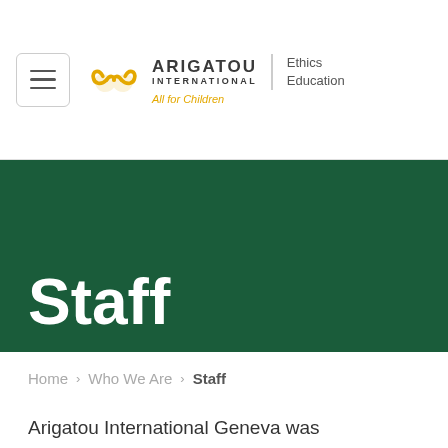[Figure (logo): Arigatou International Ethics Education logo with yellow icon, nav hamburger menu, and tagline 'All for Children']
Staff
Home > Who We Are > Staff
Arigatou International Geneva was established to serve as the Secretariat of the Interfaith Council on Ethics Education for Children and also to represent the organization in international affairs, serve as UN liaison office and to work with other Child Rights organizations in Geneva.